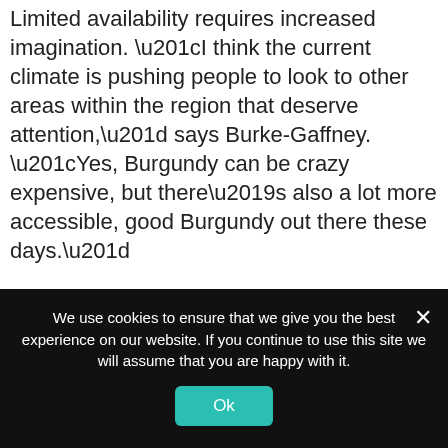Limited availability requires increased imagination. “I think the current climate is pushing people to look to other areas within the region that deserve attention,” says Burke-Gaffney. “Yes, Burgundy can be crazy expensive, but there’s also a lot more accessible, good Burgundy out there these days.”
“The quality has gone up so much more than the price for the lesser-known appellations,” agrees Campbell. “The bar has actually swung in
We use cookies to ensure that we give you the best experience on our website. If you continue to use this site we will assume that you are happy with it.